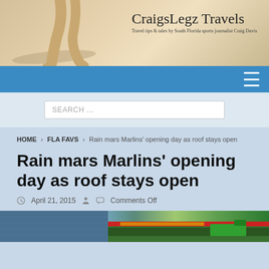[Figure (illustration): Website header banner with person running on beach, site title CraigsLegz Travels and tagline]
CraigsLegz Travels
Travel tips & tales by South Florida sports journalist Craig Davis
[Figure (infographic): Blue navigation bar with hamburger menu icon]
SEARCH ...
HOME > FLA FAVS > Rain mars Marlins' opening day as roof stays open
Rain mars Marlins' opening day as roof stays open
April 21, 2015   Comments Off
[Figure (photo): Bottom strip of a baseball stadium photo showing seats and field]